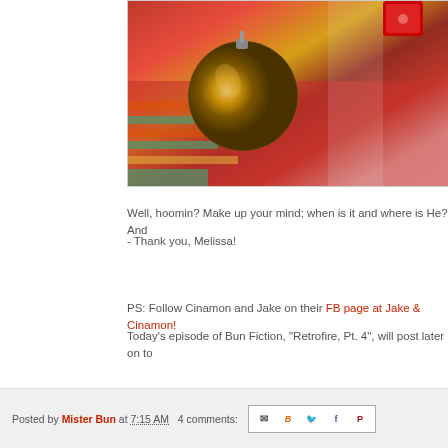[Figure (photo): Close-up photo of Christmas ornaments including a gold/bronze textured ball ornament and red decorations against colorful background]
Well, hoomin? Make up your mind; when is it and where is He? And
- Thank you, Melissa!
PS: Follow Cinamon and Jake on their FB page at Jake & Cinamon!
Today's episode of Bun Fiction, "Retrofire, Pt. 4", will post later on to
Posted by Mister Bun at 7:15 AM   4 comments: